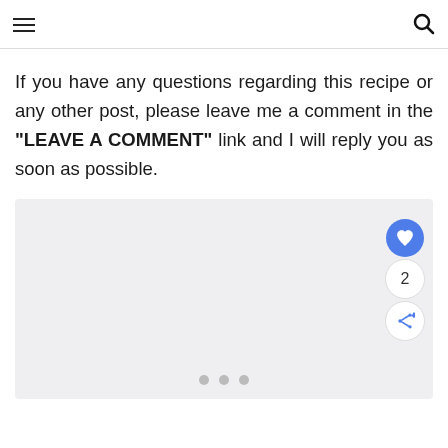[hamburger menu] [search icon]
If you have any questions regarding this recipe or any other post, please leave me a comment in the “LEAVE A COMMENT” link and I will reply you as soon as possible.
[Figure (other): Light gray image carousel placeholder with heart/like button (count: 2) and share button on the right side, and three pagination dots at the bottom.]